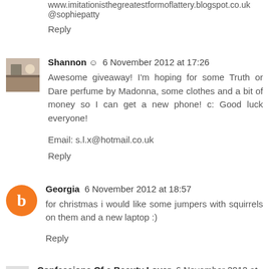www.imitationisthegreatestformoflattery.blogspot.co.uk
@sophiepatty
Reply
Shannon ☺  6 November 2012 at 17:26
Awesome giveaway! I'm hoping for some Truth or Dare perfume by Madonna, some clothes and a bit of money so I can get a new phone! c: Good luck everyone!
Email: s.l.x@hotmail.co.uk
Reply
Georgia  6 November 2012 at 18:57
for christmas i would like some jumpers with squirrels on them and a new laptop :)
Reply
Confessions Of a Beauty Lover  6 November 2012 at